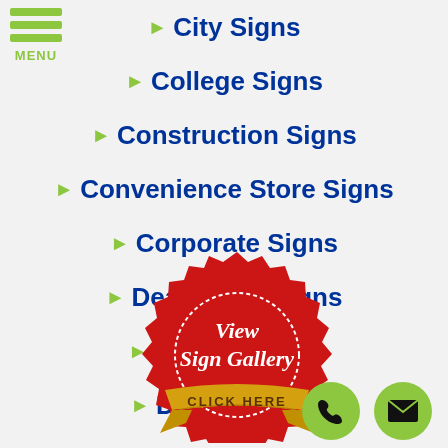MENU
City Signs
College Signs
Construction Signs
Convenience Store Signs
Corporate Signs
Dealership Signs
Dentist Signs
Doctor Signs
Gas Station Signs
[Figure (illustration): Red stamp badge with 'View Sign Gallery - CLICK HERE' text and gold ribbon banner, overlapping the menu list]